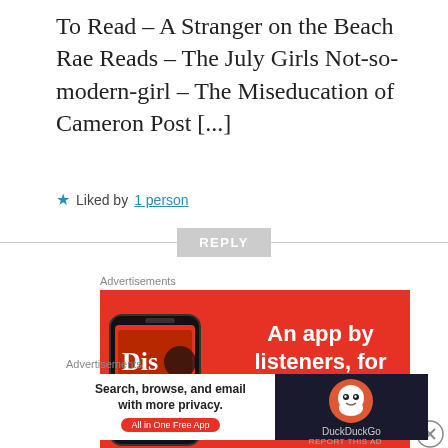To Read – A Stranger on the Beach Rae Reads – The July Girls Not-so-modern-girl – The Miseducation of Cameron Post [...]
★ Liked by 1 person
REPLY
Advertisements
[Figure (screenshot): Red advertisement banner for Distributed app showing a phone with the app and text 'An app by listeners, for listeners.']
Advertisements
[Figure (screenshot): DuckDuckGo advertisement banner: 'Search, browse, and email with more privacy. All in One Free App' with DuckDuckGo logo]